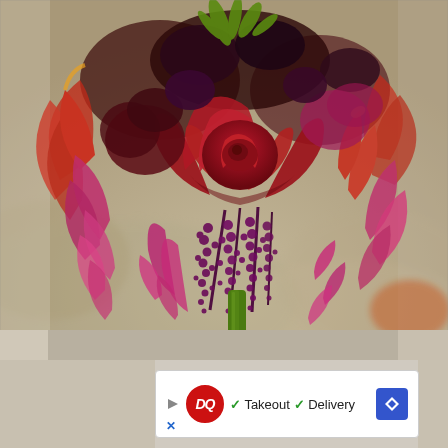[Figure (photo): A close-up photograph of a bridal/wedding bouquet featuring deep red roses as the focal point, surrounded by hot pink and magenta calla lilies, gloriosa lilies with yellow-tipped red petals, dark purple amaranthus or hanging berry clusters, and green foliage. The bouquet is held by a green stem wrap and photographed against a blurred beige/tan stone or granite surface background.]
[Figure (screenshot): An advertisement banner for Dairy Queen (DQ) showing the DQ logo in a red oval, green checkmarks next to 'Takeout' and 'Delivery' text, a blue diamond-shaped navigation icon on the right, a play/ad indicator triangle on the left, and a blue X close button at the bottom left.]